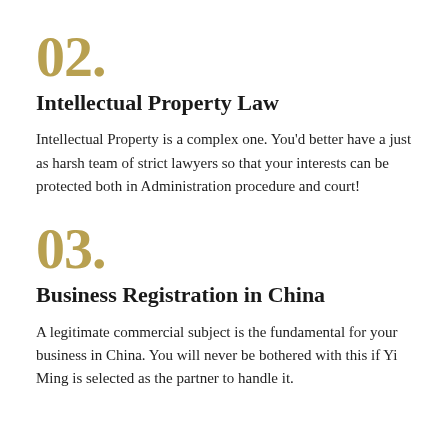02.
Intellectual Property Law
Intellectual Property is a complex one. You'd better have a just as harsh team of strict lawyers so that your interests can be protected both in Administration procedure and court!
03.
Business Registration in China
A legitimate commercial subject is the fundamental for your business in China. You will never be bothered with this if Yi Ming is selected as the partner to handle it.